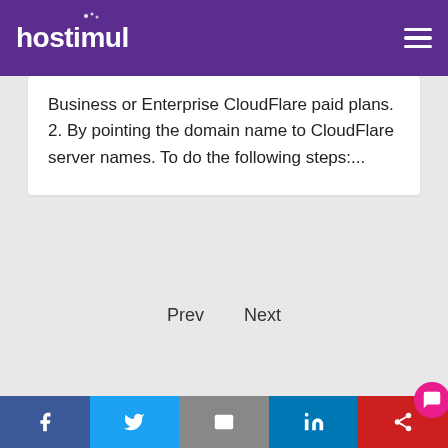hostimul
Business or Enterprise CloudFlare paid plans.  2. By pointing the domain name to CloudFlare server names. To do the following steps:...
Prev   Next
Facebook Twitter Email LinkedIn Share